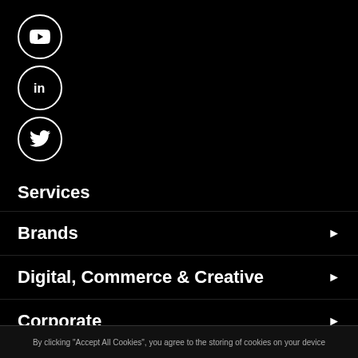[Figure (illustration): YouTube icon in a circle outline (white on black)]
[Figure (illustration): LinkedIn icon in a circle outline (white on black)]
[Figure (illustration): Twitter icon in a circle outline (white on black)]
Services
Brands
Digital, Commerce & Creative
Corporate
Data & Privacy
By clicking "Accept All Cookies", you agree to the storing of cookies on your device